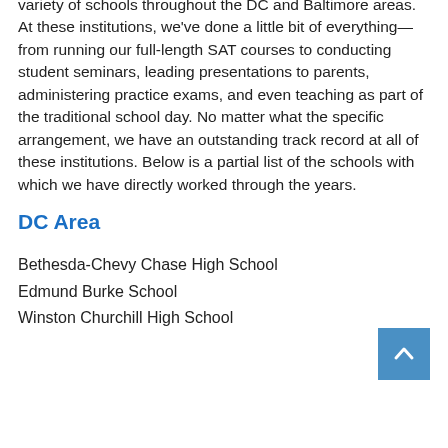variety of schools throughout the DC and Baltimore areas. At these institutions, we've done a little bit of everything—from running our full-length SAT courses to conducting student seminars, leading presentations to parents, administering practice exams, and even teaching as part of the traditional school day. No matter what the specific arrangement, we have an outstanding track record at all of these institutions. Below is a partial list of the schools with which we have directly worked through the years.
DC Area
Bethesda-Chevy Chase High School
Edmund Burke School
Winston Churchill High School